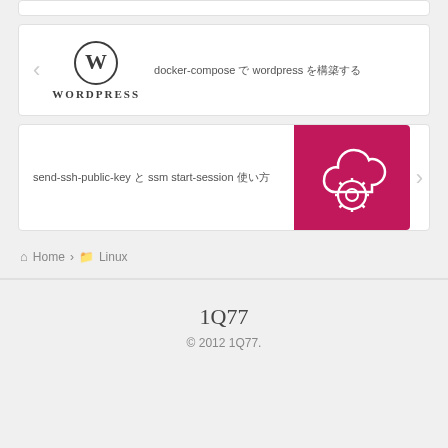[Figure (screenshot): WordPress logo with circle W icon and WORDPRESS text below]
docker-compose で wordpress を構築する
send-ssh-public-key と ssm start-session 使い方
[Figure (illustration): Pink/magenta background with white cloud and gear icon]
Home > Linux
1Q77
© 2012 1Q77.